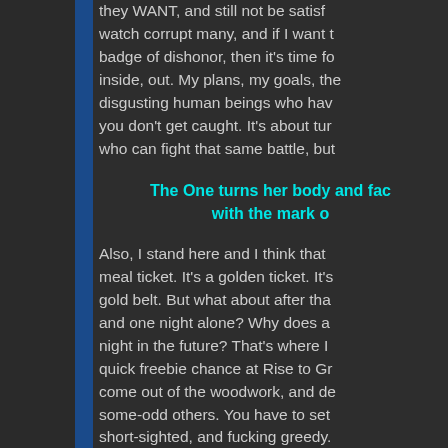they WANT, and still not be satisf... watch corrupt many, and if I want t... badge of dishonor, then it's time fo... inside, out. My plans, my goals, the... disgusting human beings who hav... you don't get caught. It's about tur... who can fight that same battle, but
The One turns her body and fac... with the mark o...
Also, I stand here and I think that ... meal ticket. It's a golden ticket. It's... gold belt. But what about after tha... and one night alone? Why does a... night in the future? That's where I... quick freebie chance at Rise to Gr... come out of the woodwork, and de... some-odd others. You have to set... short-sighted, and fucking greedy.... over you walking away from Takin... They are focused on the shiny obje... not about finishing in the top 2...